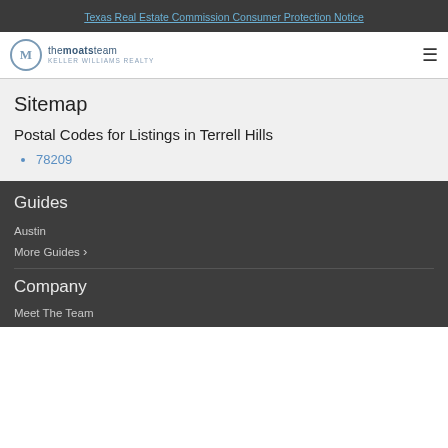Texas Real Estate Commission Consumer Protection Notice
[Figure (logo): The Moats Team Keller Williams Realty logo with circular M emblem]
Sitemap
Postal Codes for Listings in Terrell Hills
78209
Guides
Austin
More Guides ›
Company
Meet The Team